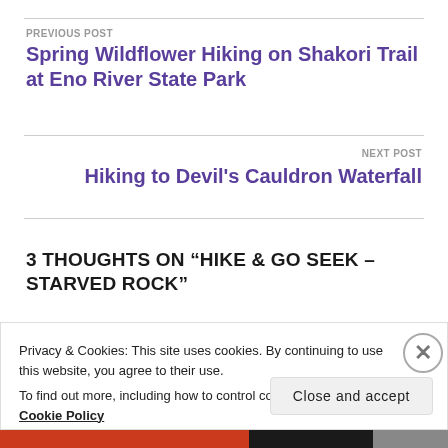PREVIOUS POST
Spring Wildflower Hiking on Shakori Trail at Eno River State Park
NEXT POST
Hiking to Devil’s Cauldron Waterfall
3 THOUGHTS ON “HIKE & GO SEEK – STARVED ROCK”
Privacy & Cookies: This site uses cookies. By continuing to use this website, you agree to their use.
To find out more, including how to control cookies, see here: Cookie Policy
Close and accept